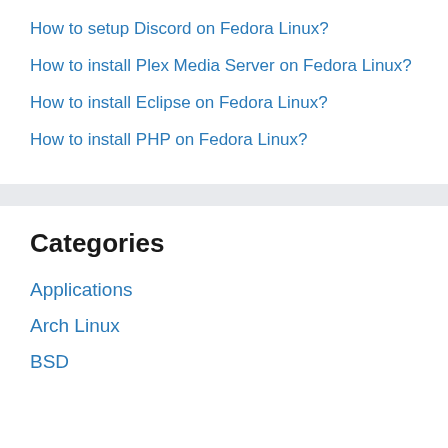How to setup Discord on Fedora Linux?
How to install Plex Media Server on Fedora Linux?
How to install Eclipse on Fedora Linux?
How to install PHP on Fedora Linux?
Categories
Applications
Arch Linux
BSD